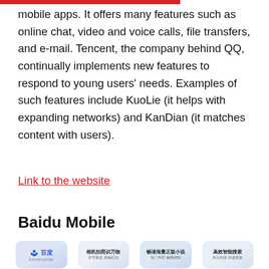mobile apps. It offers many features such as online chat, video and voice calls, file transfers, and e-mail. Tencent, the company behind QQ, continually implements new features to respond to young users' needs. Examples of such features include KuoLie (it helps with expanding networks) and KanDian (it matches content with users).
Link to the website
Baidu Mobile
[Figure (screenshot): Screenshot of Baidu mobile app interface showing app icons and Chinese text including Baidu logo, camera recognition, novel reading, and smart search features]